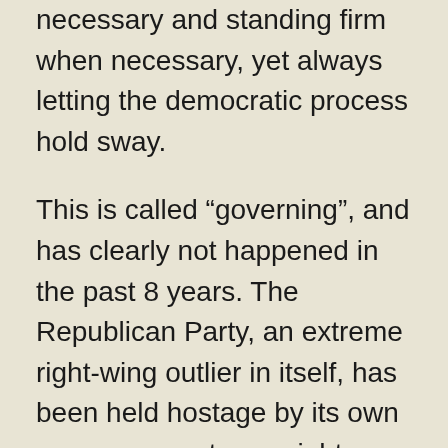necessary and standing firm when necessary, yet always letting the democratic process hold sway.
This is called “governing”, and has clearly not happened in the past 8 years. The Republican Party, an extreme right-wing outlier in itself, has been held hostage by its own even-more-extreme right wing, unable to control or integrate it into something like “the loyal opposition.” It is all opposition, opposition as an end in itself, and loyalty has nothing to do with it. This opposition has been permanently institutionalized by gerrymandering at the state and local level. This will not be reversed unless,